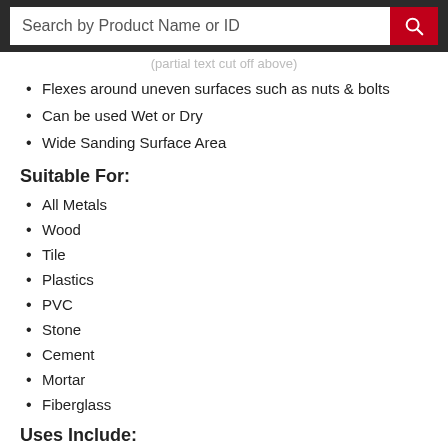Search by Product Name or ID
Flexes around uneven surfaces such as nuts & bolts
Can be used Wet or Dry
Wide Sanding Surface Area
Suitable For:
All Metals
Wood
Tile
Plastics
PVC
Stone
Cement
Mortar
Fiberglass
Uses Include:
Rust removal
Stripping paint